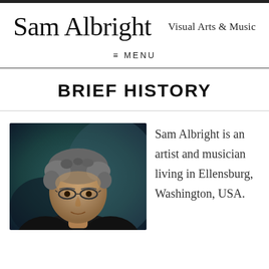Sam Albright
Visual Arts & Music
≡ MENU
BRIEF HISTORY
[Figure (photo): Portrait photo of Sam Albright, a man with curly grey hair and glasses, photographed against a dark teal/blue background.]
Sam Albright is an artist and musician living in Ellensburg, Washington, USA.